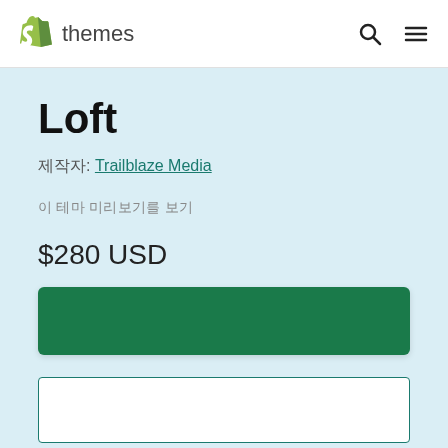Shopify themes
Loft
제작자: Trailblaze Media
이 테마 미리보기를 보기
$280 USD
[Figure (other): Green purchase button]
[Figure (other): Text input box]
체험판 또는 구매. 언제든지 테마를 변경할 수 있습니다.